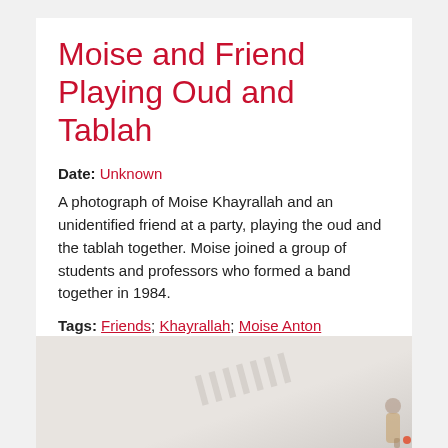Moise and Friend Playing Oud and Tablah
Date: Unknown
A photograph of Moise Khayrallah and an unidentified friend at a party, playing the oud and the tablah together. Moise joined a group of students and professors who formed a band together in 1984.
Tags: Friends; Khayrallah; Moise Anton Khayrallah; Musical Instruments; Ouds; Parties; Tablah
[Figure (photo): A partially visible photograph showing a light-colored interior setting with a faint watermark and a figure visible at the bottom right edge.]